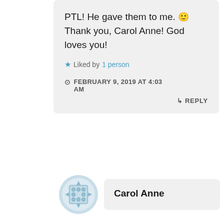PTL! He gave them to me. 🙂 Thank you, Carol Anne! God loves you!
★ Liked by 1 person
FEBRUARY 9, 2019 AT 4:03 AM
↳ REPLY
[Figure (illustration): Circular avatar placeholder with a grid/move icon in light blue]
Carol Anne